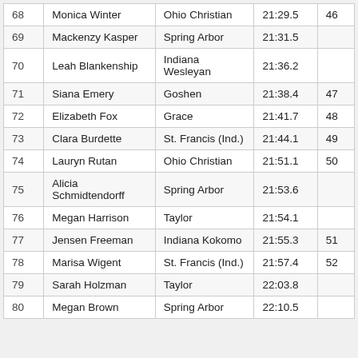| Place | Name | School | Time | Pts |
| --- | --- | --- | --- | --- |
| 68 | Monica Winter | Ohio Christian | 21:29.5 | 46 |
| 69 | Mackenzy Kasper | Spring Arbor | 21:31.5 |  |
| 70 | Leah Blankenship | Indiana Wesleyan | 21:36.2 |  |
| 71 | Siana Emery | Goshen | 21:38.4 | 47 |
| 72 | Elizabeth Fox | Grace | 21:41.7 | 48 |
| 73 | Clara Burdette | St. Francis (Ind.) | 21:44.1 | 49 |
| 74 | Lauryn Rutan | Ohio Christian | 21:51.1 | 50 |
| 75 | Alicia Schmidtendorff | Spring Arbor | 21:53.6 |  |
| 76 | Megan Harrison | Taylor | 21:54.1 |  |
| 77 | Jensen Freeman | Indiana Kokomo | 21:55.3 | 51 |
| 78 | Marisa Wigent | St. Francis (Ind.) | 21:57.4 | 52 |
| 79 | Sarah Holzman | Taylor | 22:03.8 |  |
| 80 | Megan Brown | Spring Arbor | 22:10.5 |  |